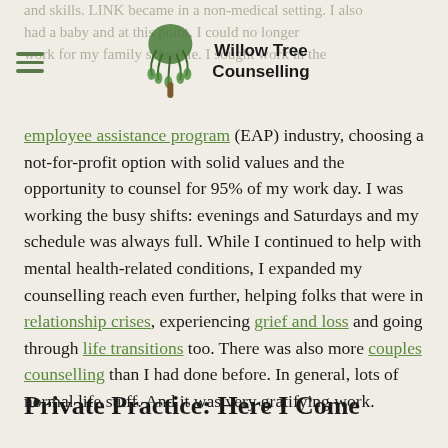Willow Tree Counselling
employee assistance program (EAP) industry, choosing a not-for-profit option with solid values and the opportunity to counsel for 95% of my work day. I was working the busy shifts: evenings and Saturdays and my schedule was always full. While I continued to help with mental health-related conditions, I expanded my counselling reach even further, helping folks that were in relationship crises, experiencing grief and loss and going through life transitions too. There was also more couples counselling than I had done before. In general, lots of normal life stuff. And it was very gratifying work.
Private Practice: Here I Come